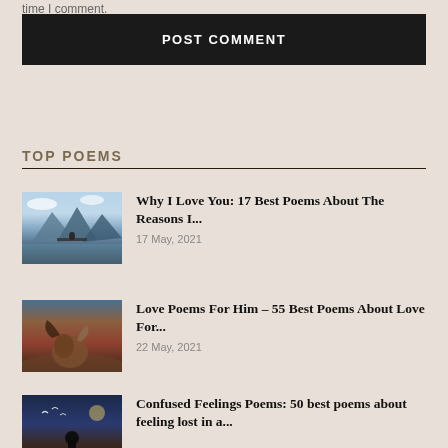time I comment.
POST COMMENT
TOP POEMS
[Figure (photo): Person standing on a glass bridge over mountain valley with reflections]
Why I Love You: 17 Best Poems About The Reasons I...
17 May, 2021
[Figure (photo): Couple sitting together in desert landscape]
Love Poems For Him – 55 Best Poems About Love For...
22 May, 2021
[Figure (photo): Silhouette at night with birds flying]
Confused Feelings Poems: 50 best poems about feeling lost in a...